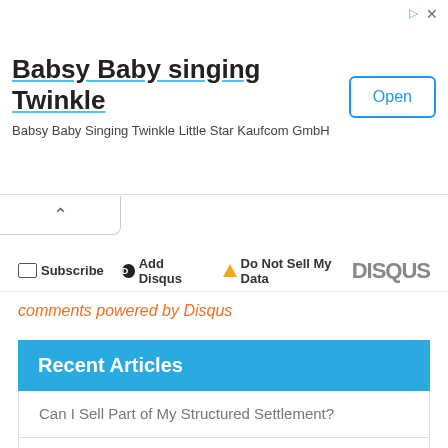[Figure (screenshot): Advertisement banner for 'Babsy Baby singing Twinkle' app by Kaufcom GmbH with an Open button]
Subscribe  Add Disqus  Do Not Sell My Data  DISQUS
comments powered by Disqus
Recent Articles
Can I Sell Part of My Structured Settlement?
A Guide to Choosing an Australian Insurance Broker
ISAs for Beginners: What Are They and How Many Types Are There?
Tips for Choosing Insurance That's Right for You
What is Private Mortgage Insurance (PMI)?